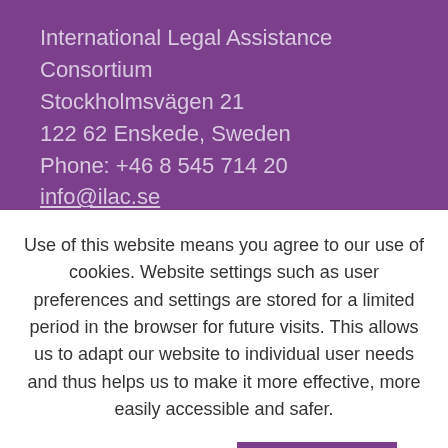International Legal Assistance Consortium
Stockholmsvägen 21
122 62 Enskede, Sweden
Phone: +46 8 545 714 20
info@ilac.se
Use of this website means you agree to our use of cookies. Website settings such as user preferences and settings are stored for a limited period in the browser for future visits. This allows us to adapt our website to individual user needs and thus helps us to make it more effective, more easily accessible and safer.
Cookie settings
ACCEPT